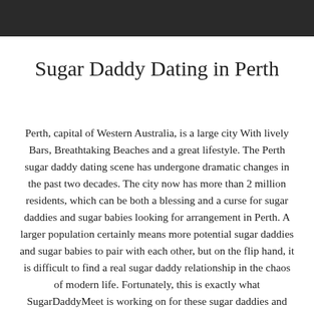[Figure (photo): Dark photo bar at top of page, showing partial background image (dark tones)]
Sugar Daddy Dating in Perth
Perth, capital of Western Australia, is a large city With lively Bars, Breathtaking Beaches and a great lifestyle. The Perth sugar daddy dating scene has undergone dramatic changes in the past two decades. The city now has more than 2 million residents, which can be both a blessing and a curse for sugar daddies and sugar babies looking for arrangement in Perth. A larger population certainly means more potential sugar daddies and sugar babies to pair with each other, but on the flip hand, it is difficult to find a real sugar daddy relationship in the chaos of modern life. Fortunately, this is exactly what SugarDaddyMeet is working on for these sugar daddies and sugar babies in Perth. We are committed to contacting like-minded Perth sugar daddies and sugar babies searching for secret beneficial relationships and looking for arrangement in Perth. If you're looking for a decent